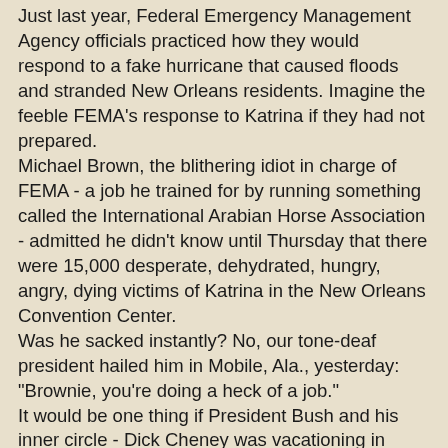Just last year, Federal Emergency Management Agency officials practiced how they would respond to a fake hurricane that caused floods and stranded New Orleans residents. Imagine the feeble FEMA's response to Katrina if they had not prepared.
Michael Brown, the blithering idiot in charge of FEMA - a job he trained for by running something called the International Arabian Horse Association - admitted he didn't know until Thursday that there were 15,000 desperate, dehydrated, hungry, angry, dying victims of Katrina in the New Orleans Convention Center.
Was he sacked instantly? No, our tone-deaf president hailed him in Mobile, Ala., yesterday: "Brownie, you're doing a heck of a job."
It would be one thing if President Bush and his inner circle - Dick Cheney was vacationing in Wyoming; Condi Rice was shoe shopping at Ferragamo's on Fifth Avenue and attended "Spamalot" before bloggers chased her back to Washington; and Andy Card was off in Maine - lacked empathy but could get the job done. But it is a chilling lack of empathy combined with a stunning lack of efficiency that could make this administration implodo.